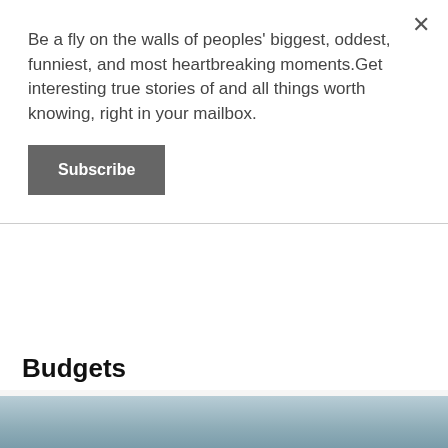Be a fly on the walls of peoples' biggest, oddest, funniest, and most heartbreaking moments.Get interesting true stories of and all things worth knowing, right in your mailbox.
Subscribe
Budgets
[Figure (photo): Partial view of a photo strip at the bottom of the page, showing a blue-grey outdoor scene]